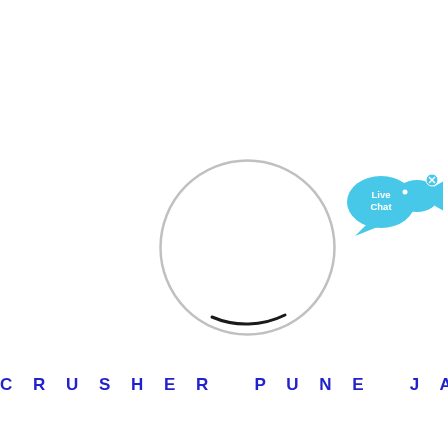[Figure (illustration): A circular ring/spinner graphic with a light gray circle outline and a short black arc segment at the bottom, resembling a loading spinner. Positioned in the upper-center of the page.]
[Figure (illustration): A light blue speech bubble chat icon with a blue fish/chat icon to the right and a small x close button. Text inside reads 'Live Chat'. Positioned in the upper-right corner.]
CRUSHER PUNE JAW